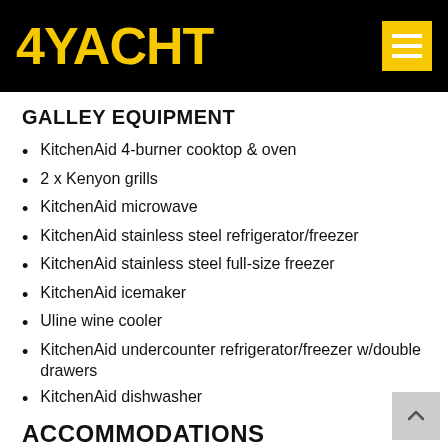4YACHT
GALLEY EQUIPMENT
KitchenAid 4-burner cooktop & oven
2 x Kenyon grills
KitchenAid microwave
KitchenAid stainless steel refrigerator/freezer
KitchenAid stainless steel full-size freezer
KitchenAid icemaker
Uline wine cooler
KitchenAid undercounter refrigerator/freezer w/double drawers
KitchenAid dishwasher
ACCOMMODATIONS
A PLACE IN THE SUN accommodates up to 13 guests